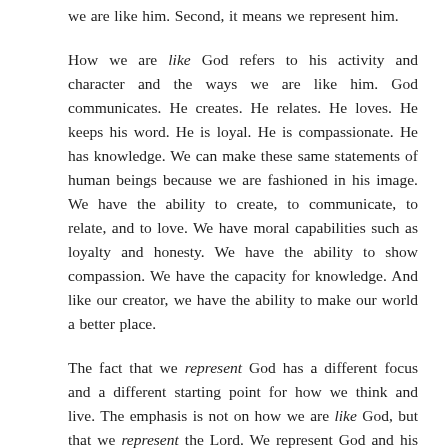we are like him. Second, it means we represent him.
How we are like God refers to his activity and character and the ways we are like him. God communicates. He creates. He relates. He loves. He keeps his word. He is loyal. He is compassionate. He has knowledge. We can make these same statements of human beings because we are fashioned in his image. We have the ability to create, to communicate, to relate, and to love. We have moral capabilities such as loyalty and honesty. We have the ability to show compassion. We have the capacity for knowledge. And like our creator, we have the ability to make our world a better place.
The fact that we represent God has a different focus and a different starting point for how we think and live. The emphasis is not on how we are like God, but that we represent the Lord. We represent God and his values